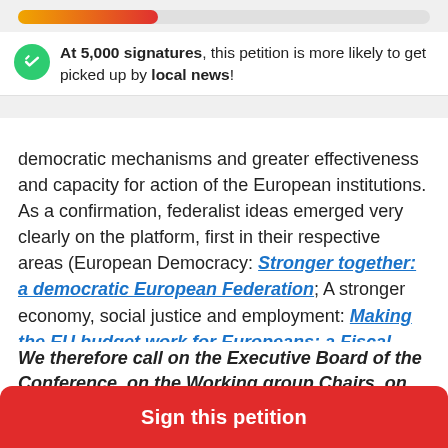[Figure (infographic): Progress bar showing petition signature progress, gradient from orange to red, approximately 34% filled]
At 5,000 signatures, this petition is more likely to get picked up by local news!
democratic mechanisms and greater effectiveness and capacity for action of the European institutions. As a confirmation, federalist ideas emerged very clearly on the platform, first in their respective areas (European Democracy: Stronger together: a democratic European Federation; A stronger economy, social justice and employment: Making the EU budget work for Europeans: a Fiscal Union; Other ideas: For a European sovereignty: the necessary reforms).
We therefore call on the Executive Board of the Conference, on the Working group Chairs, on the
Sign this petition